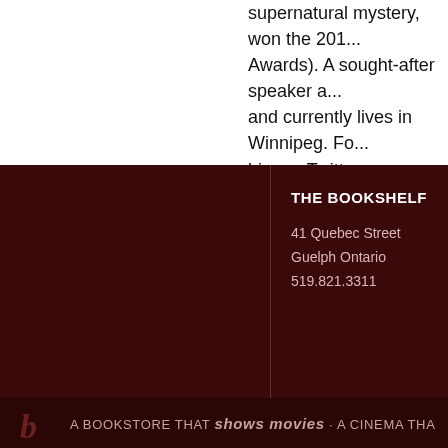supernatural mystery, won the 201... Awards). A sought-after speaker a... and currently lives in Winnipeg. Fo... him on Twitter: @DaveAlexRoberts
THE BOOKSHELF
41 Quebec Street
Guelph Ontario
519.821.3311
BOOK...
Books...
Gifts
Read R...
Follow...
A BOOKSTORE THAT shows movies · A CINEMA THA...